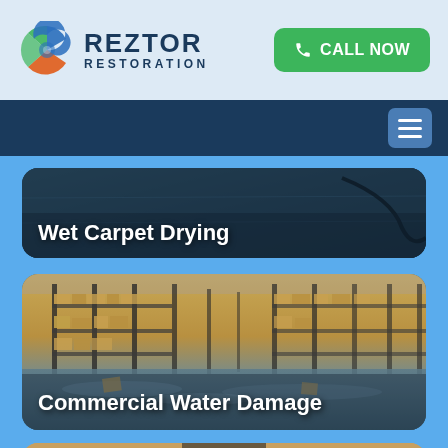REZTOR RESTORATION — CALL NOW
[Figure (screenshot): Reztor Restoration logo with stylized blue/green/orange bird icon]
CALL NOW
[Figure (screenshot): Hamburger menu button in dark blue nav bar]
[Figure (photo): Wet carpet drying service card — dark wet carpet background with text 'Wet Carpet Drying']
[Figure (photo): Flooded warehouse with shelving and boxes — Commercial Water Damage service card]
[Figure (photo): Partially visible bottom card with person and wood background]